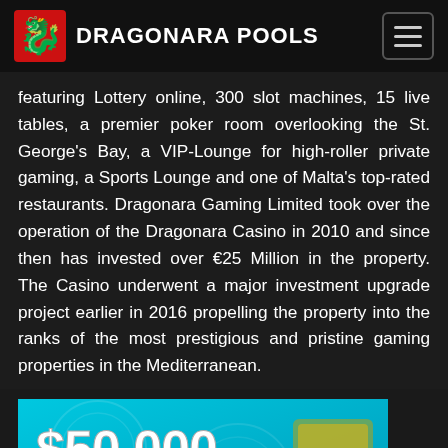DRAGONARA POOLS
featuring Lottery online, 300 slot machines, 15 live tables, a premier poker room overlooking the St. George's Bay, a VIP-Lounge for high-roller private gaming, a Sports Lounge and one of Malta's top-rated restaurants. Dragonara Gaming Limited took over the operation of the Dragonara Casino in 2010 and since then has invested over €25 Million in the property. The Casino underwent a major investment upgrade project earlier in 2016 propelling the property into the ranks of the most prestigious and pristine gaming properties in the Mediterranean.
[Figure (illustration): $50,000 Jackpot Second Chance Promotion banner on cyan/blue background]